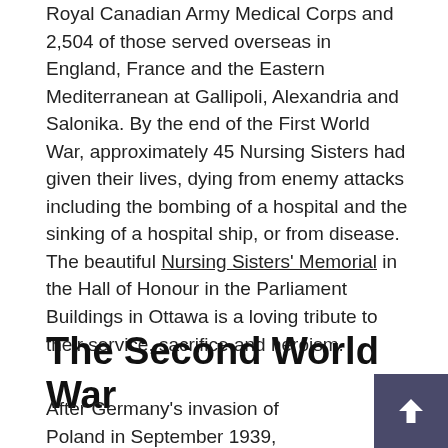Royal Canadian Army Medical Corps and 2,504 of those served overseas in England, France and the Eastern Mediterranean at Gallipoli, Alexandria and Salonika. By the end of the First World War, approximately 45 Nursing Sisters had given their lives, dying from enemy attacks including the bombing of a hospital and the sinking of a hospital ship, or from disease. The beautiful Nursing Sisters' Memorial in the Hall of Honour in the Parliament Buildings in Ottawa is a loving tribute to their service, sacrifice and heroism.
The Second World War
After Germany's invasion of Poland in September 1939, Canada again found its…